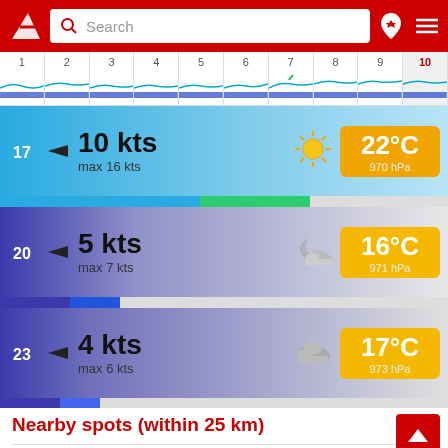[Figure (screenshot): Red app header with logo, search box, and navigation icons]
[Figure (infographic): Timeline strip with hour numbers 1-10, wave/wind charts below each hour]
17  ▶  10 kts  max 16 kts  ☀  22°C  970 hPa
20  ▶  5 kts  max 7 kts  🌙☁  16°C  971 hPa
23  ▶  4 kts  max 6 kts  ☁  17°C  973 hPa
Nearby spots (within 25 km)
Romanshorn